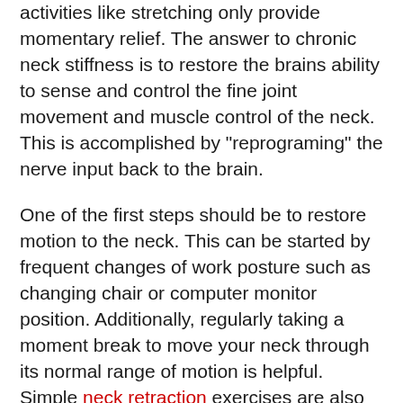activities like stretching only provide momentary relief. The answer to chronic neck stiffness is to restore the brains ability to sense and control the fine joint movement and muscle control of the neck. This is accomplished by "reprograming" the nerve input back to the brain.
One of the first steps should be to restore motion to the neck. This can be started by frequent changes of work posture such as changing chair or computer monitor position. Additionally, regularly taking a moment break to move your neck through its normal range of motion is helpful. Simple neck retraction exercises are also good to begin to re-educate the small movements of the neck joints.
Finally, you can increase the effectiveness of the above actions dramatically when combined with specific chiropractic adjustments. Research has demonstrated that adjustments ...